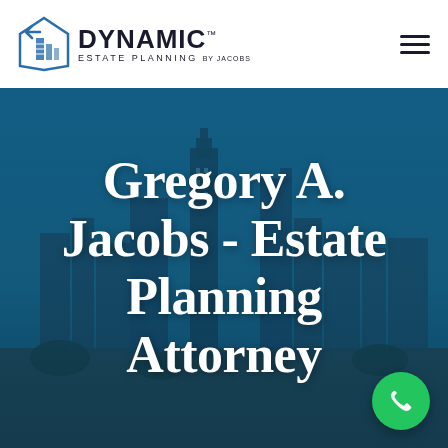[Figure (logo): Dynamic Estate Planning by Jacobs logo with geometric blue building icon and bold text]
[Figure (photo): Atlanta city skyline aerial view under blue sky with teal overlay, background hero image]
Gregory A. Jacobs - Estate Planning Attorney
[Figure (other): Green circular phone/call button in bottom right corner]